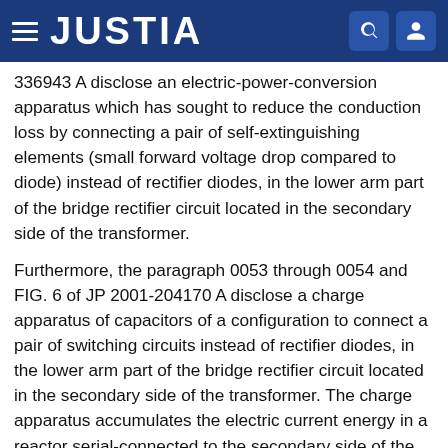JUSTIA
336943 A disclose an electric-power-conversion apparatus which has sought to reduce the conduction loss by connecting a pair of self-extinguishing elements (small forward voltage drop compared to diode) instead of rectifier diodes, in the lower arm part of the bridge rectifier circuit located in the secondary side of the transformer.
Furthermore, the paragraph 0053 through 0054 and FIG. 6 of JP 2001-204170 A disclose a charge apparatus of capacitors of a configuration to connect a pair of switching circuits instead of rectifier diodes, in the lower arm part of the bridge rectifier circuit located in the secondary side of the transformer. The charge apparatus accumulates the electric current energy in a reactor serial-connected to the secondary side of the transformer when the switching circuit is switched on.